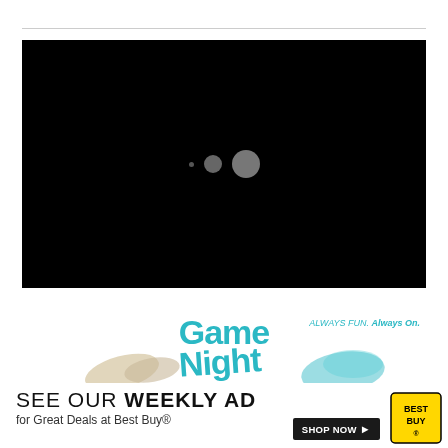[Figure (screenshot): Black video player area with loading dots (small, medium, large) centered in the frame]
[Figure (infographic): Best Buy advertisement: 'Game Night' branding in teal with 'ALWAYS FUN. Always On.' tagline, decorative hands and game elements. Text reads 'SEE OUR WEEKLY AD for Great Deals at Best Buy®' with 'SHOP NOW >' button and Best Buy yellow tag logo.]